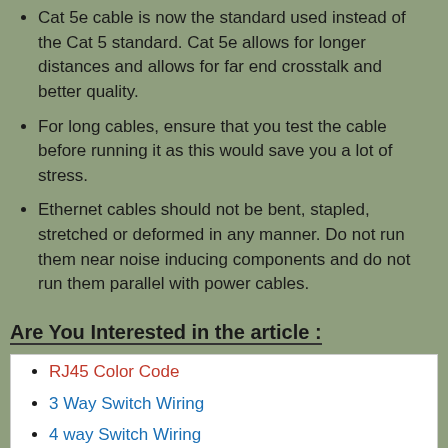Cat 5e cable is now the standard used instead of the Cat 5 standard. Cat 5e allows for longer distances and allows for far end crosstalk and better quality.
For long cables, ensure that you test the cable before running it as this would save you a lot of stress.
Ethernet cables should not be bent, stapled, stretched or deformed in any manner. Do not run them near noise inducing components and do not run them parallel with power cables.
Are You Interested in the article :
RJ45 Color Code
3 Way Switch Wiring
4 way Switch Wiring
Trailer Color Code
GFCI wiring diagram